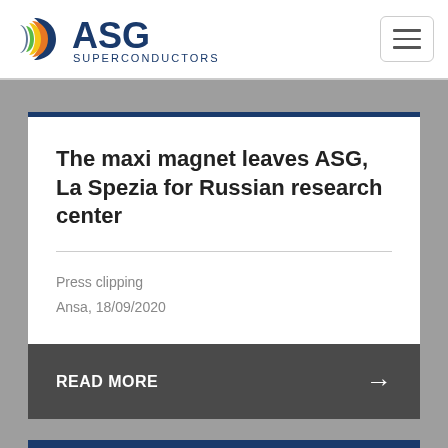ASG Superconductors
The maxi magnet leaves ASG, La Spezia for Russian research center
Press clipping
Ansa, 18/09/2020
READ MORE